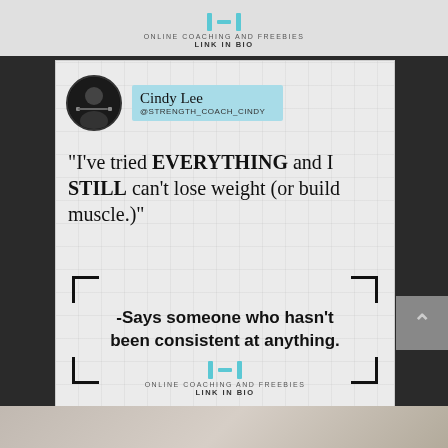ONLINE COACHING AND FREEBIES
LINK IN BIO
Cindy Lee
@STRENGTH_COACH_CINDY
"I've tried EVERYTHING and I STILL can't lose weight (or build muscle.)"
-Says someone who hasn't been consistent at anything.
ONLINE COACHING AND FREEBIES
LINK IN BIO